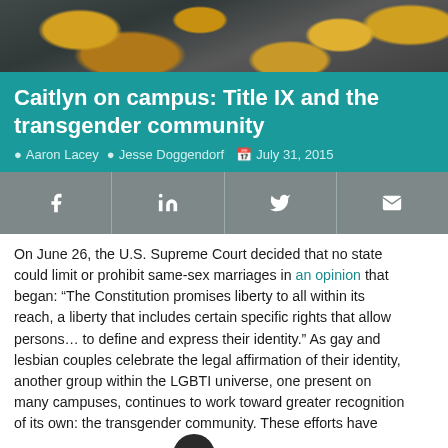[Figure (photo): Autumn leaves on a path, viewed from above, with fall foliage in yellow, orange and brown colors.]
Caitlyn on campus: Title IX and the transgender community
Aaron Lacey  Jesse Doggendorf  July 31, 2015
[Figure (infographic): Social sharing bar with Facebook, LinkedIn, Twitter, and email icons on a gray background.]
On June 26, the U.S. Supreme Court decided that no state could limit or prohibit same-sex marriages in an opinion that began: “The Constitution promises liberty to all within its reach, a liberty that includes certain specific rights that allow persons… to define and express their identity.” As gay and lesbian couples celebrate the legal affirmation of their identity, another group within the LGBTI universe, one present on many campuses, continues to work toward greater recognition of its own: the transgender community. These efforts have been rewarded in recent years by federal policy makers, as agencies for the first time have articulated their positions regarding the application of federal discrimination laws to transgender individuals.